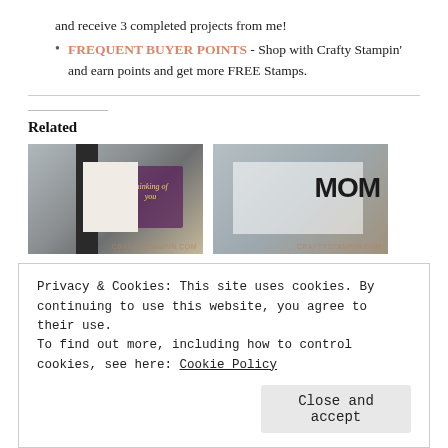and receive 3 completed projects from me!
FREQUENT BUYER POINTS - Shop with Crafty Stampin' and earn points and get more FREE Stamps.
Related
[Figure (photo): Two crafting/stamping project images shown as thumbnails side by side. Left: a card with dark panel and floral design reading 'thinking of you'. Right: a card with 'MOM' letters and decorative elements.]
Stamp It Group
Stamp It Group 2018
Privacy & Cookies: This site uses cookies. By continuing to use this website, you agree to their use.
To find out more, including how to control cookies, see here: Cookie Policy